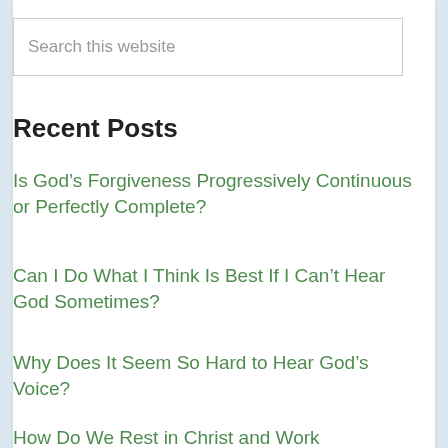Search this website
Recent Posts
Is God’s Forgiveness Progressively Continuous or Perfectly Complete?
Can I Do What I Think Is Best If I Can’t Hear God Sometimes?
Why Does It Seem So Hard to Hear God’s Voice?
How Do We Rest in Christ and Work